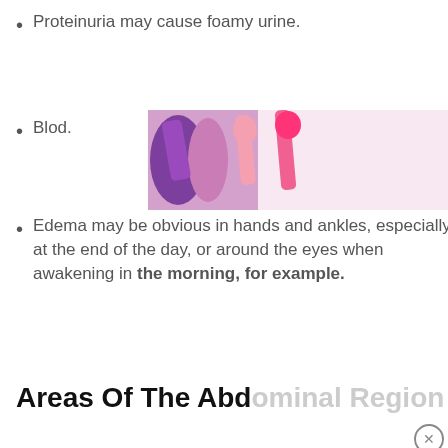Proteinuria may cause foamy urine.
Blood …d.
[Figure (screenshot): MAC cosmetics advertisement banner showing colorful lipsticks and a SHOP NOW button]
Edema may be obvious in hands and ankles, especially at the end of the day, or around the eyes when awakening in the morning, for example.
Areas Of The Abdominal Region
[Figure (photo): Medical educational video thumbnail showing a hand-drawn anatomical diagram on paper placed on a dark green surface, with a play button overlay]
[Figure (screenshot): ULTA beauty advertisement banner with lipstick, brush, eye, and ULTA logo with SHOP NOW button]
[Figure (screenshot): Black video overlay popup with close button]